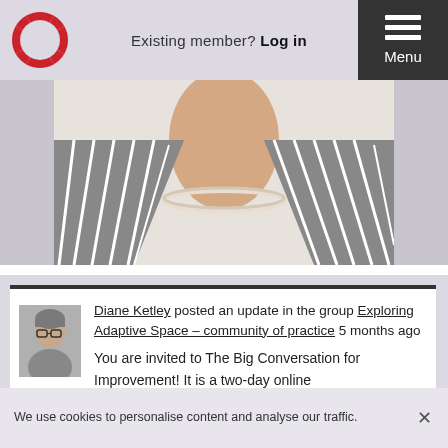Existing member? Log in  Menu
[Figure (photo): Cropped photograph of a woman wearing a striped blazer and pearl necklace, visible from shoulders to chin]
[Figure (photo): Small avatar of Diane Ketley, a woman with short hair and glasses]
Diane Ketley posted an update in the group Exploring Adaptive Space – community of practice 5 months ago

You are invited to The Big Conversation for Improvement! It is a two-day online
We use cookies to personalise content and analyse our traffic.